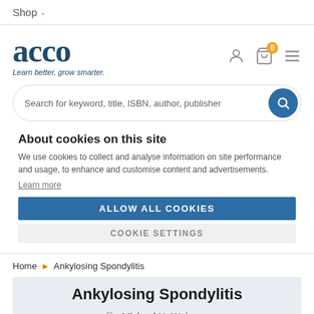Shop
[Figure (logo): acco logo with tagline 'Learn better, grow smarter.']
Search for keyword, title, ISBN, author, publisher
About cookies on this site
We use cookies to collect and analyse information on site performance and usage, to enhance and customise content and advertisements.
Learn more
ALLOW ALL COOKIES
COOKIE SETTINGS
Home > Ankylosing Spondylitis
Ankylosing Spondylitis
Michael H. Weisman
Rheumatology - general,  General practice,  Geriatrics - general